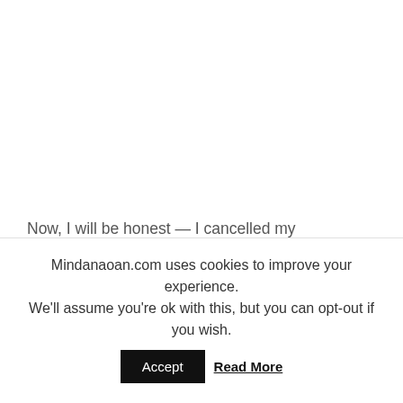Now, I will be honest — I cancelled my appointments with two political PR clients that day because of Color Me Badd and All 4 One. No, I did not regret it and yes, they're still my clients. They actually found it rather
Mindanaoan.com uses cookies to improve your experience. We'll assume you're ok with this, but you can opt-out if you wish.
Accept   Read More